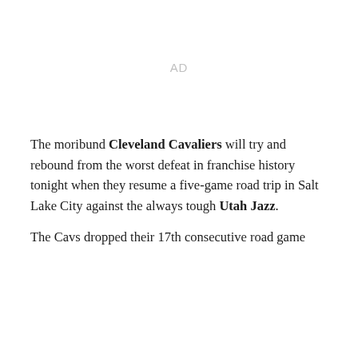[Figure (other): Advertisement placeholder area labeled AD]
The moribund Cleveland Cavaliers will try and rebound from the worst defeat in franchise history tonight when they resume a five-game road trip in Salt Lake City against the always tough Utah Jazz.
The Cavs dropped their 17th consecutive road game